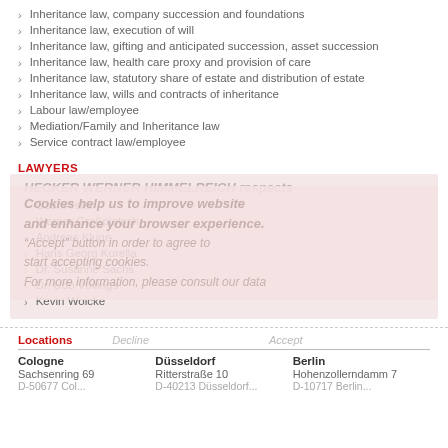Inheritance law, company succession and foundations
Inheritance law, execution of will
Inheritance law, gifting and anticipated succession, asset succession
Inheritance law, health care proxy and provision of care
Inheritance law, statutory share of estate and distribution of estate
Inheritance law, wills and contracts of inheritance
Labour law/employee
Mediation/Family and Inheritance law
Service contract law/employee
LAWYERS
Özer Arslan
Werner Großpietsch
Andreas Kluge
Hans Georg Kurella
Dr. Susanne Sachs
Dr. Udo Völlings
Kevin Woicke
Locations
| Cologne | Düsseldorf | Berlin |
| --- | --- | --- |
| Sachsenring 69 | Ritterstraße 10 | Hohenzollerndamm 7 |